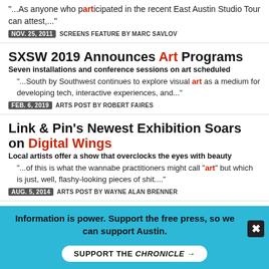"...As anyone who participated in the recent East Austin Studio Tour can attest,..."
NOV. 25, 2011 SCREENS FEATURE BY MARC SAVLOV
SXSW 2019 Announces Art Programs
Seven installations and conference sessions on art scheduled
"...South by Southwest continues to explore visual art as a medium for developing tech, interactive experiences, and..."
FEB. 6, 2019 ARTS POST BY ROBERT FAIRES
Link & Pin's Newest Exhibition Soars on Digital Wings
Local artists offer a show that overclocks the eyes with beauty
"...of this is what the wannabe practitioners might call "art" but which is just, well, flashy-looking pieces of shit...."
AUG. 5, 2014 ARTS POST BY WAYNE ALAN BRENNER
Art
Art Openings
Information is power. Support the free press, so we can support Austin.
SUPPORT THE CHRONICLE →